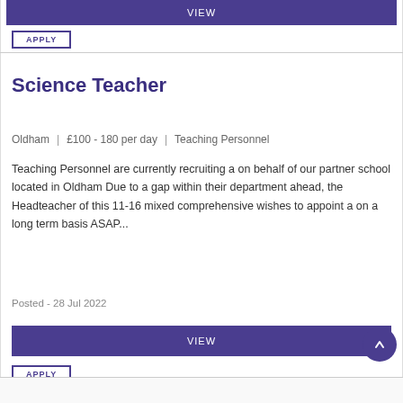VIEW
APPLY
Science Teacher
Oldham | £100 - 180 per day | Teaching Personnel
Teaching Personnel are currently recruiting a on behalf of our partner school located in Oldham Due to a gap within their department ahead, the Headteacher of this 11-16 mixed comprehensive wishes to appoint a on a long term basis ASAP...
Posted - 28 Jul 2022
VIEW
APPLY